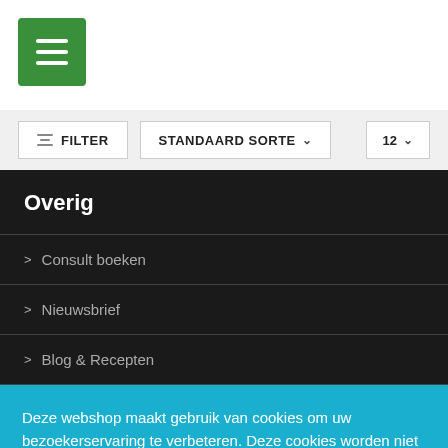[Figure (screenshot): Green hamburger menu button with three white horizontal lines]
FILTER
STANDAARD SORTE
12
Overig
> Consult boeken
> Nieuwsbrief
> Blog & Recepten
Deze webshop maakt gebruik van cookies om uw bezoekerservaring te verbeteren. Deze cookies worden niet gebruikt voor commercieledoeleinden uitsluitend ter bevordering van het functioneren van deze webshop.
Cookie Instellingen
Alles accepteren